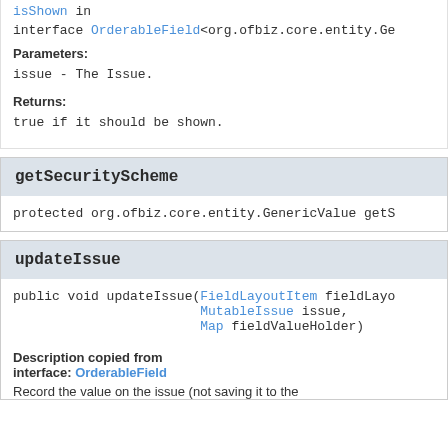isShown in interface OrderableField<org.ofbiz.core.entity.Ge
Parameters:
issue - The Issue.
Returns:
true if it should be shown.
getSecurityScheme
protected org.ofbiz.core.entity.GenericValue getS
updateIssue
public void updateIssue(FieldLayoutItem fieldLayo
                        MutableIssue issue,
                        Map fieldValueHolder)
Description copied from interface: OrderableField
Record the value on the issue (not saving it to the